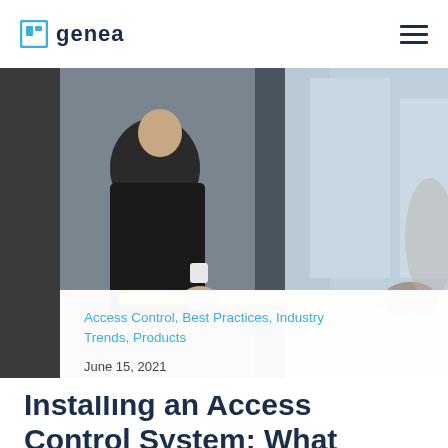Genea
[Figure (photo): Two people measuring a doorway or wall with a yellow tape measure; one person is wearing a dark suit jacket, the other hand is reaching from the right side. Office or commercial building setting with glass panels visible in background.]
Access Control, Best Practices, Industry Trends, Products
June 15, 2021
Installing an Access Control System: What